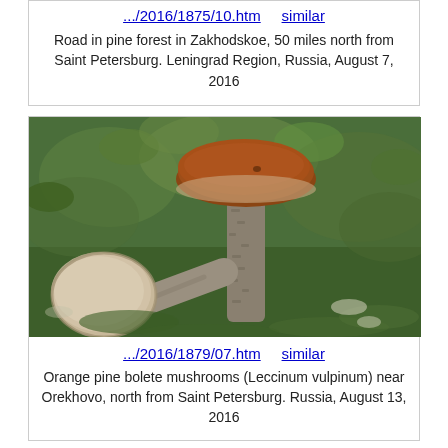.../2016/1875/10.htm    similar
Road in pine forest in Zakhodskoe, 50 miles north from Saint Petersburg. Leningrad Region, Russia, August 7, 2016
[Figure (photo): Two orange pine bolete mushrooms (Leccinum vulpinum) on moss in a forest setting. One mushroom stands tall with a reddish-brown cap, the other lies on its side showing the underside.]
.../2016/1879/07.htm    similar
Orange pine bolete mushrooms (Leccinum vulpinum) near Orekhovo, north from Saint Petersburg. Russia, August 13, 2016
[Figure (photo): Partial view of a mushroom on moss, cropped at bottom of page.]